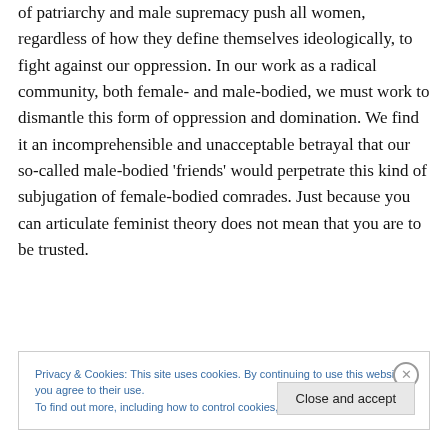of patriarchy and male supremacy push all women, regardless of how they define themselves ideologically, to fight against our oppression. In our work as a radical community, both female- and male-bodied, we must work to dismantle this form of oppression and domination. We find it an incomprehensible and unacceptable betrayal that our so-called male-bodied ‘friends’ would perpetrate this kind of subjugation of female-bodied comrades. Just because you can articulate feminist theory does not mean that you are to be trusted.
Privacy & Cookies: This site uses cookies. By continuing to use this website, you agree to their use.
To find out more, including how to control cookies, see here: Cookie Policy